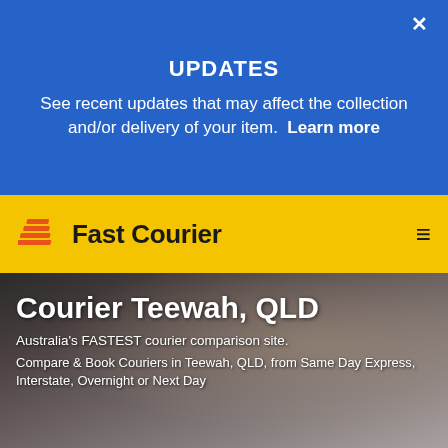UPDATES
See recent updates that may affect the collection and/or delivery of your item.  Learn more
[Figure (logo): Fast Courier logo with orange stacked lines icon and text 'Fast Courier' on yellow navigation bar]
[Figure (photo): Background photo of a courier delivery person near a vehicle door, showing Courier Teewah QLD page hero image]
Courier Teewah, QLD
Australia's FASTEST courier comparison site.
Compare & Book Couriers in Teewah, QLD, from Same Day Express, Interstate, Overnight or Next Day